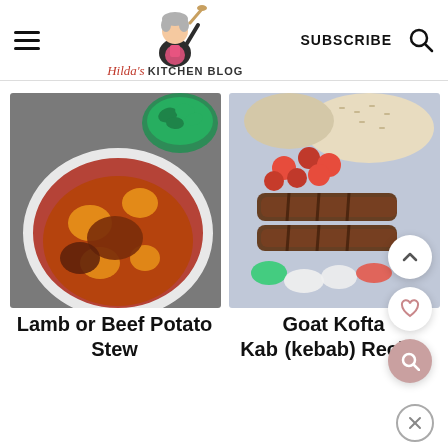Hilda's Kitchen Blog | SUBSCRIBE
[Figure (photo): Bowl of lamb or beef and potato stew in a rich tomato sauce, with a bowl of fresh greens in the background, on a grey surface]
[Figure (photo): Grilled goat kofta kababs on a plate with cherry tomatoes, onions, peppers and rice]
Lamb or Beef Potato Stew
Goat Kofta Kab (kebab) Recipe